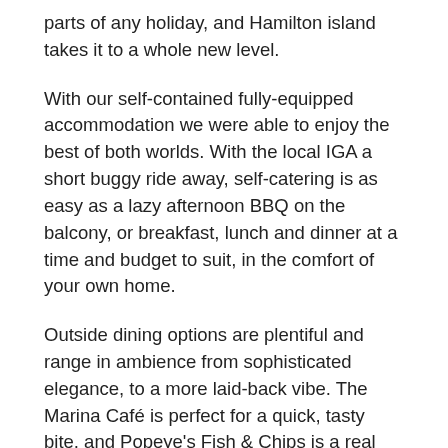parts of any holiday, and Hamilton island takes it to a whole new level.
With our self-contained fully-equipped accommodation we were able to enjoy the best of both worlds. With the local IGA a short buggy ride away, self-catering is as easy as a lazy afternoon BBQ on the balcony, or breakfast, lunch and dinner at a time and budget to suit, in the comfort of your own home.
Outside dining options are plentiful and range in ambience from sophisticated elegance, to a more laid-back vibe. The Marina Café is perfect for a quick, tasty bite, and Popeye's Fish & Chips is a real family pleaser (make sure you try their burgers). For when you want to spoil yourself, Coca Chu is my top pick. The first-class service is only outshone by the menu, an exciting hawker-style selection inspired by the flavours of South-east Asia. I highly recommend the slow-cooked lamb shoulder, and the pork ribs, and be sure to leave room for the son-in-law eggs! There's a kid's menu too, with all the usual favourites, as well as items for more adventurous eaters. My hot tip for Coca Chu is to